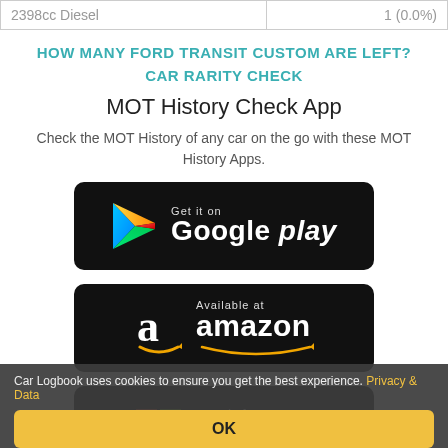| 2398cc Diesel | 1 (0.0%) |
HOW MANY FORD TRANSIT CUSTOM ARE LEFT?
CAR RARITY CHECK
MOT History Check App
Check the MOT History of any car on the go with these MOT History Apps.
[Figure (screenshot): Get it on Google Play badge - black rounded rectangle with Play Store triangle icon and text 'Get it on Google play']
[Figure (screenshot): Available at Amazon badge - black rounded rectangle with Amazon 'a' logo and text 'Available at amazon']
[Figure (screenshot): Get it from Microsoft badge - partially visible black rounded rectangle with Windows logo squares and text 'Get it from Microsoft']
Car Logbook uses cookies to ensure you get the best experience. Privacy & Data
OK